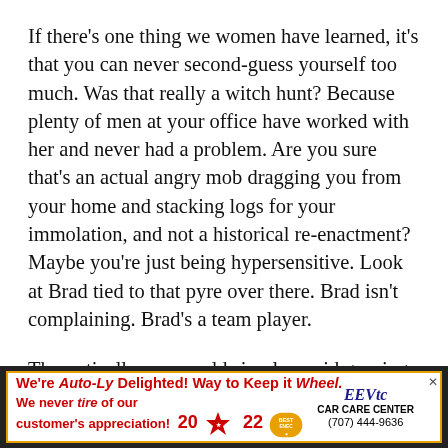If there's one thing we women have learned, it's that you can never second-guess yourself too much. Was that really a witch hunt? Because plenty of men at your office have worked with her and never had a problem. Are you sure that's an actual angry mob dragging you from your home and stacking logs for your immolation, and not a historical re-enactment? Maybe you're just being hypersensitive. Look at Brad tied to that pyre over there. Brad isn't complaining. Brad's a team player.
Theoretically, you could simply avoid groping, coercing and assaulting coworkers. But let's be realistic. Maybe, unlike women, you haven't cultivated the elephantine skin you need to do your job with a target on your back.
[Figure (infographic): Advertisement banner: We're Auto-Ly Delighted! Way to Keep it Wheel. We never tire of our customer's appreciation! 2022 star badge best badge. EEVtc CAR CARE CENTER (707) 444-9636]